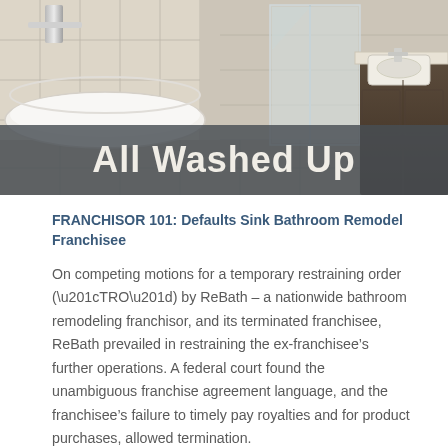[Figure (photo): Bathroom remodeling photo showing a freestanding bathtub on the left with silver faucet, a glass shower enclosure in the center-right, and a dark wood vanity with sink on the far right. Tile floor visible. Overlay text reads 'All Washed Up'.]
All Washed Up
FRANCHISOR 101: Defaults Sink Bathroom Remodel Franchisee
On competing motions for a temporary restraining order (“TRO”) by ReBath – a nationwide bathroom remodeling franchisor, and its terminated franchisee, ReBath prevailed in restraining the ex-franchisee’s further operations. A federal court found the unambiguous franchise agreement language, and the franchisee’s failure to timely pay royalties and for product purchases, allowed termination.